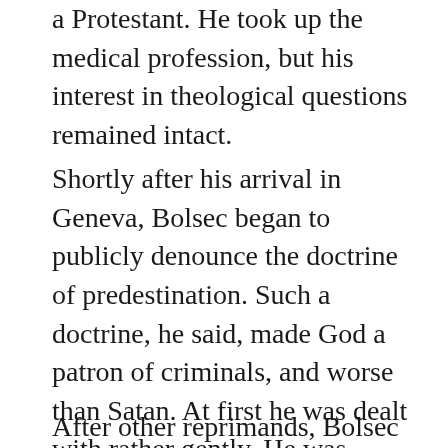a Protestant. He took up the medical profession, but his interest in theological questions remained intact.
Shortly after his arrival in Geneva, Bolsec began to publicly denounce the doctrine of predestination. Such a doctrine, he said, made God a patron of criminals, and worse than Satan. At first he was dealt with rather gently. He was admonished by the Church authorities and told to cease from such activities. Calvin even met privately with Bolsec in an effort to resolve differences. Bolsec, however, remained unconvinced.
After other reprimands, Bolsec finally let fly